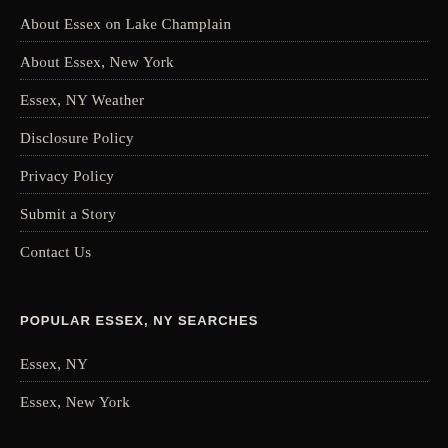About Essex on Lake Champlain
About Essex, New York
Essex, NY Weather
Disclosure Policy
Privacy Policy
Submit a Story
Contact Us
POPULAR ESSEX, NY SEARCHES
Essex, NY
Essex, New York